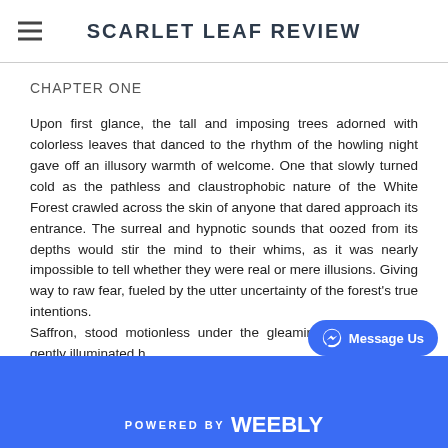SCARLET LEAF REVIEW
CHAPTER ONE
Upon first glance, the tall and imposing trees adorned with colorless leaves that danced to the rhythm of the howling night gave off an illusory warmth of welcome. One that slowly turned cold as the pathless and claustrophobic nature of the White Forest crawled across the skin of anyone that dared approach its entrance. The surreal and hypnotic sounds that oozed from its depths would stir the mind to their whims, as it was nearly impossible to tell whether they were real or mere illusions. Giving way to raw fear, fueled by the utter uncertainty of the forest's true intentions.
Saffron, stood motionless under the gleaming moonlight that gently illuminated h
POWERED BY weebly